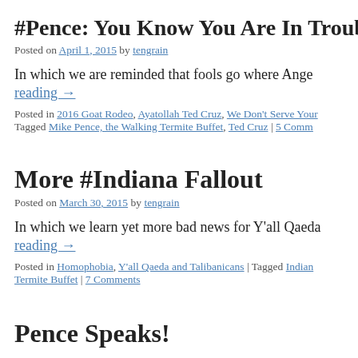#Pence: You Know You Are In Trouble W
Posted on April 1, 2015 by tengrain
In which we are reminded that fools go where Ange… Continue reading →
Posted in 2016 Goat Rodeo, Ayatollah Ted Cruz, We Don't Serve Your… Tagged Mike Pence, the Walking Termite Buffet, Ted Cruz | 5 Comm…
More #Indiana Fallout
Posted on March 30, 2015 by tengrain
In which we learn yet more bad news for Y'all Qaeda… Continue reading →
Posted in Homophobia, Y'all Qaeda and Talibanicans | Tagged Indian… Termite Buffet | 7 Comments
Pence Speaks!